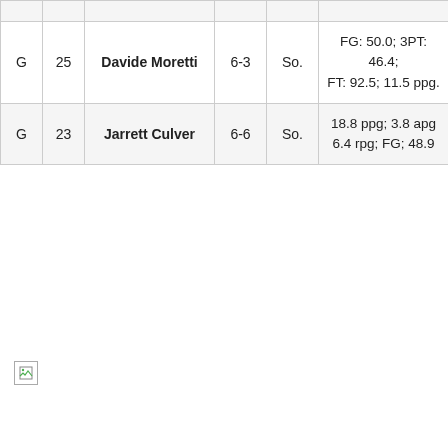|  |  |  |  |  |  |
| --- | --- | --- | --- | --- | --- |
| G | 25 | Davide Moretti | 6-3 | So. | FG: 50.0; 3PT: 46.4; FT: 92.5; 11.5 ppg. |
| G | 23 | Jarrett Culver | 6-6 | So. | 18.8 ppg; 3.8 apg 6.4 rpg; FG; 48.9 |
[Figure (photo): Broken image placeholder icon in the lower left area of the page]